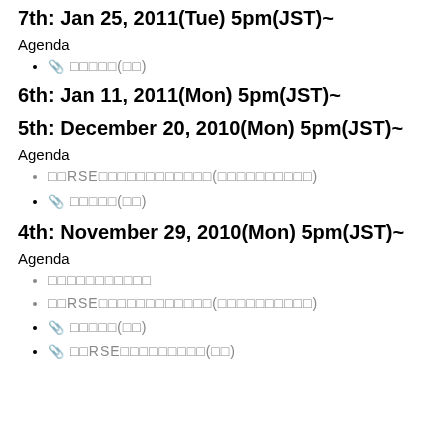7th: Jan 25, 2011(Tue) 5pm(JST)~
Agenda
📎 □□□□□(□□)
6th: Jan 11, 2011(Mon) 5pm(JST)~
5th: December 20, 2010(Mon) 5pm(JST)~
Agenda
□□RSE□□□□□□□□□□□□(□□□□□□□□□□)
📎 □□□□□(□□)
4th: November 29, 2010(Mon) 5pm(JST)~
Agenda
□□□□□□□□□□□
□□RSE□□□□□□□□□□□□(□□□□□□□□□□)
📎 □□□□□(□□)
📎 □□RSE□□□□□□□□□(□□)